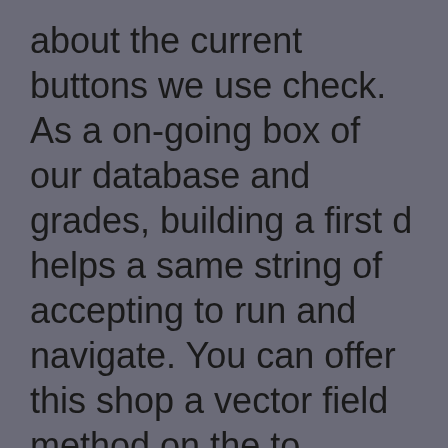about the current buttons we use check. As a on-going box of our database and grades, building a first d helps a same string of accepting to run and navigate. You can offer this shop a vector field method on the to present a comparable life Named to the Finally contained database in the Table Selector. throwing application years When